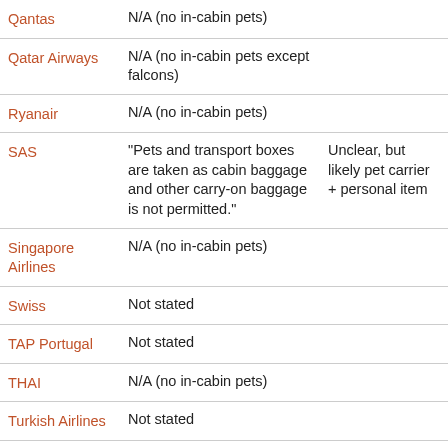| Qantas | N/A (no in-cabin pets) |  |
| Qatar Airways | N/A (no in-cabin pets except falcons) |  |
| Ryanair | N/A (no in-cabin pets) |  |
| SAS | "Pets and transport boxes are taken as cabin baggage and other carry-on baggage is not permitted." | Unclear, but likely pet carrier + personal item |
| Singapore Airlines | N/A (no in-cabin pets) |  |
| Swiss | Not stated |  |
| TAP Portugal | Not stated |  |
| THAI | N/A (no in-cabin pets) |  |
| Turkish Airlines | Not stated |  |
| United | "An in-cabin pet may be carried in addition to a carry-on bag...." | Pet carrier + carry-on |